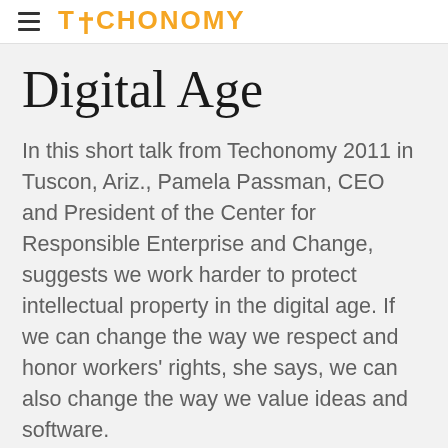TECHONOMY
Digital Age
In this short talk from Techonomy 2011 in Tuscon, Ariz., Pamela Passman, CEO and President of the Center for Responsible Enterprise and Change, suggests we work harder to protect intellectual property in the digital age. If we can change the way we respect and honor workers' rights, she says, we can also change the way we value ideas and software.